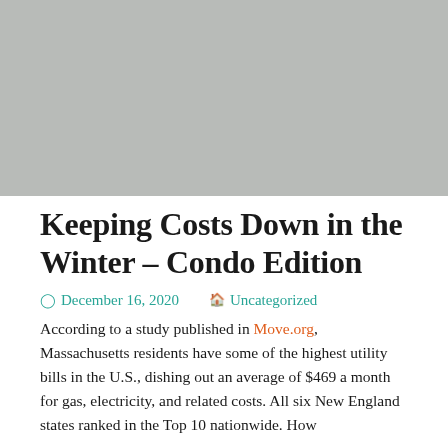[Figure (photo): Gray placeholder image at top of article]
Keeping Costs Down in the Winter – Condo Edition
December 16, 2020   Uncategorized
According to a study published in Move.org, Massachusetts residents have some of the highest utility bills in the U.S., dishing out an average of $469 a month for gas, electricity, and related costs. All six New England states ranked in the Top 10 nationwide. How